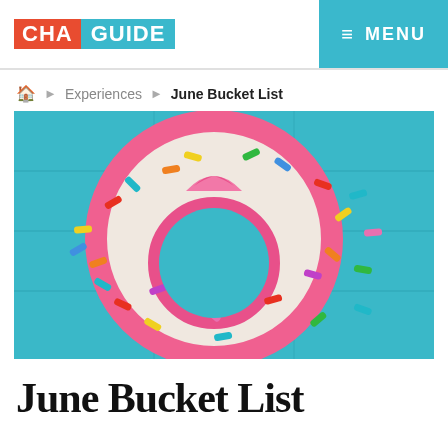CHA GUIDE  ≡ MENU
🏠 ▶ Experiences ▶ June Bucket List
[Figure (photo): A colorful inflatable donut-shaped pool float with white frosting and multicolored sprinkles, photographed from above against a teal/blue background]
June Bucket List